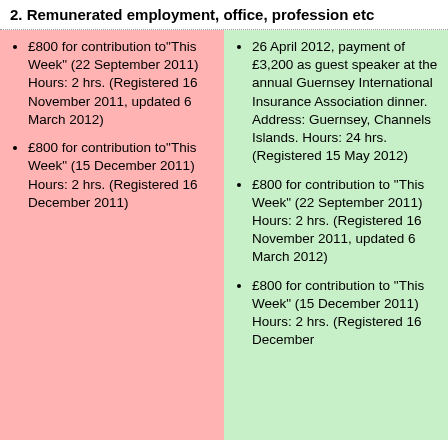2. Remunerated employment, office, profession etc
£800 for contribution to"This Week" (22 September 2011) Hours: 2 hrs. (Registered 16 November 2011, updated 6 March 2012)
£800 for contribution to"This Week" (15 December 2011) Hours: 2 hrs. (Registered 16 December 2011)
26 April 2012, payment of £3,200 as guest speaker at the annual Guernsey International Insurance Association dinner. Address: Guernsey, Channels Islands. Hours: 24 hrs. (Registered 15 May 2012)
£800 for contribution to "This Week" (22 September 2011) Hours: 2 hrs. (Registered 16 November 2011, updated 6 March 2012)
£800 for contribution to "This Week" (15 December 2011) Hours: 2 hrs. (Registered 16 December